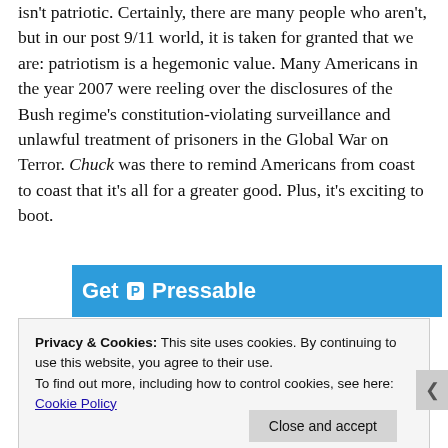isn't patriotic. Certainly, there are many people who aren't, but in our post 9/11 world, it is taken for granted that we are: patriotism is a hegemonic value. Many Americans in the year 2007 were reeling over the disclosures of the Bush regime's constitution-violating surveillance and unlawful treatment of prisoners in the Global War on Terror. Chuck was there to remind Americans from coast to coast that it's all for a greater good. Plus, it's exciting to boot.
[Figure (other): Advertisement banner for 'Get Pressable' with blue background and white text]
Privacy & Cookies: This site uses cookies. By continuing to use this website, you agree to their use. To find out more, including how to control cookies, see here: Cookie Policy